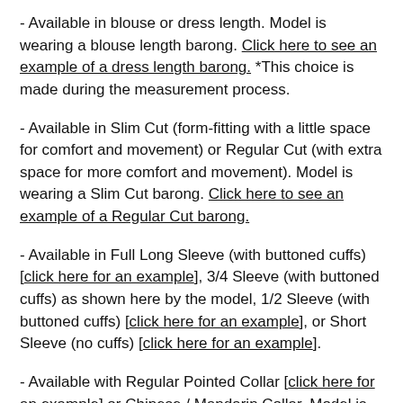- Available in blouse or dress length. Model is wearing a blouse length barong. Click here to see an example of a dress length barong. *This choice is made during the measurement process.
- Available in Slim Cut (form-fitting with a little space for comfort and movement) or Regular Cut (with extra space for more comfort and movement). Model is wearing a Slim Cut barong. Click here to see an example of a Regular Cut barong.
- Available in Full Long Sleeve (with buttoned cuffs) [click here for an example], 3/4 Sleeve (with buttoned cuffs) as shown here by the model, 1/2 Sleeve (with buttoned cuffs) [click here for an example], or Short Sleeve (no cuffs) [click here for an example].
- Available with Regular Pointed Collar [click here for an example] or Chinese / Mandarin Collar. Model is wearing a Chinese / Mandarin Collar.